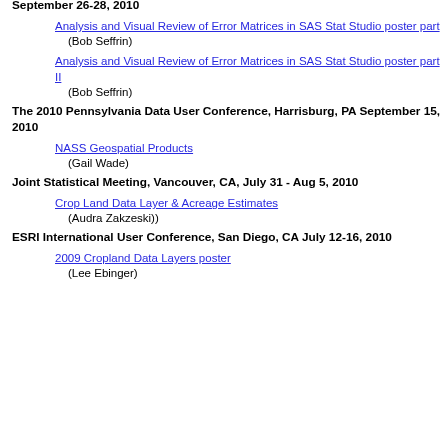September 26-28, 2010
Analysis and Visual Review of Error Matrices in SAS Stat Studio poster part
(Bob Seffrin)
Analysis and Visual Review of Error Matrices in SAS Stat Studio poster part II
(Bob Seffrin)
The 2010 Pennsylvania Data User Conference, Harrisburg, PA September 15, 2010
NASS Geospatial Products
(Gail Wade)
Joint Statistical Meeting, Vancouver, CA, July 31 - Aug 5, 2010
Crop Land Data Layer & Acreage Estimates
(Audra Zakzeski))
ESRI International User Conference, San Diego, CA July 12-16, 2010
2009 Cropland Data Layers poster
(Lee Ebinger)